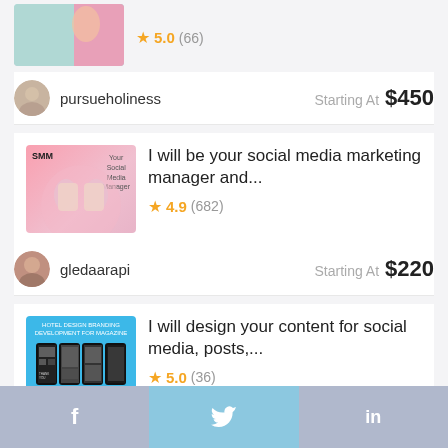[Figure (screenshot): Top partial gig card with image thumbnail and star rating 5.0 (66)]
pursueholiness  Starting At  $450
[Figure (screenshot): Gig thumbnail for social media marketing manager - blonde woman with hands on face, SMM text]
I will be your social media marketing manager and...
4.9 (682)
gledaarapi  Starting At  $220
[Figure (screenshot): Gig thumbnail for content design for social media posts - blue background with phone mockups]
I will design your content for social media, posts,...
5.0 (36)
nizzar  Starting At  $550
Explore more services
f   Twitter   in